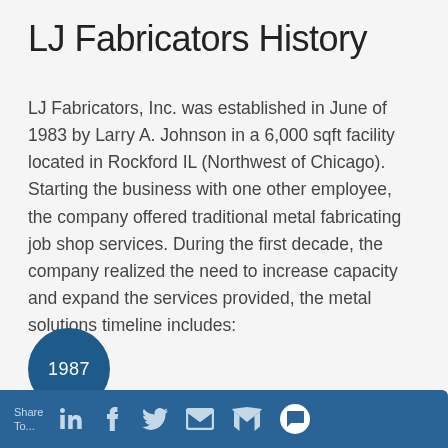LJ Fabricators History
LJ Fabricators, Inc. was established in June of 1983 by Larry A. Johnson in a 6,000 sqft facility located in Rockford IL (Northwest of Chicago). Starting the business with one other employee, the company offered traditional metal fabricating job shop services. During the first decade, the company realized the need to increase capacity and expand the services provided, the metal solutions timeline includes:
[Figure (infographic): Dark blue circular badge with white text reading '1987', representing a timeline milestone marker]
Share To... [LinkedIn] [Facebook] [Twitter] [Email] [Gmail] [SMS]